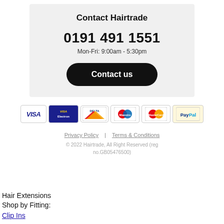Contact Hairtrade
0191 491 1551
Mon-Fri: 9:00am - 5:30pm
Contact us
[Figure (other): Payment method logos: VISA, VISA Electron, Delta, Maestro, MasterCard, PayPal]
Privacy Policy  |  Terms & Conditions
© 2022 Hairtrade, All Right Reserved (reg no.GB05476500)
Hair Extensions
Shop by Fitting:
Clip Ins